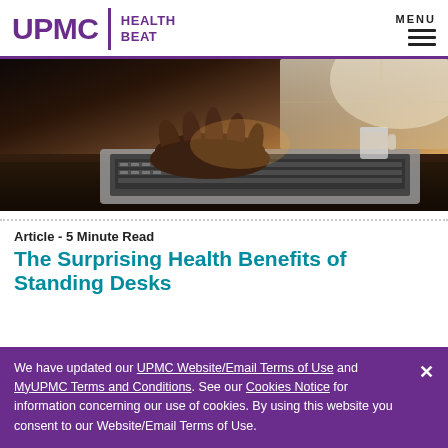UPMC HEALTH BEAT
[Figure (photo): Person typing on a laptop keyboard, close-up of hands on keyboard with soft warm light in background, cup visible in background]
Article - 5 Minute Read
The Surprising Health Benefits of Standing Desks
We have updated our UPMC Website/Email Terms of Use and MyUPMC Terms and Conditions. See our Cookies Notice for information concerning our use of cookies. By using this website you consent to our Website/Email Terms of Use.